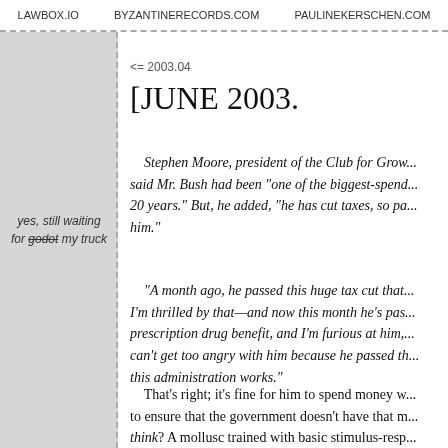LAWBOX.IO   BYZANTINERECORDS.COM   PAULINEKERSCHEN.COM
yes, still waiting for godot my truck
<= 2003.04
[JUNE 2003.
Stephen Moore, president of the Club for Grow... said Mr. Bush had been "one of the biggest-spend... 20 years." But, he added, "he has cut taxes, so pa... him."
"A month ago, he passed this huge tax cut that... I'm thrilled by that—and now this month he's pas... prescription drug benefit, and I'm furious at him,... can't get too angry with him because he passed th... this administration works."
That's right; it's fine for him to spend money w... to ensure that the government doesn't have that m... think? A mollusc trained with basic stimulus-resp...